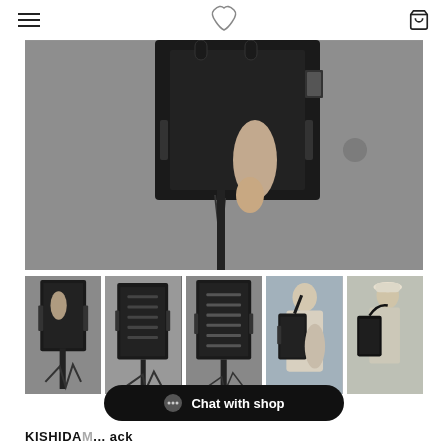navigation header with hamburger menu, logo, and cart icon
[Figure (photo): Close-up photo of a black bag/backpack being held by a mannequin hand against a concrete wall background]
[Figure (photo): Thumbnail 1: Black bag on mannequin, side view on display stand]
[Figure (photo): Thumbnail 2: Black bag front view on display stand]
[Figure (photo): Thumbnail 3: Black bag front view close-up on display stand]
[Figure (photo): Thumbnail 4: Person wearing black bag as shoulder/crossbody bag, outdoor setting]
[Figure (photo): Thumbnail 5: Person wearing black bag, side view outdoor setting]
Chat with shop
KISHIDA... ack